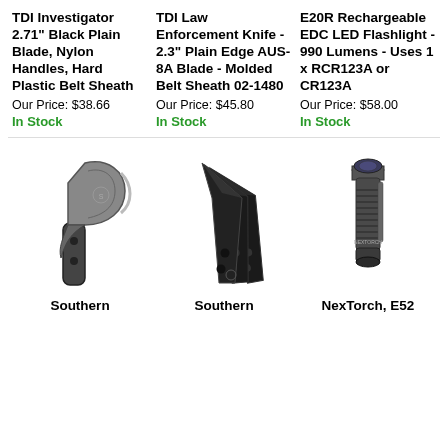TDI Investigator 2.71" Black Plain Blade, Nylon Handles, Hard Plastic Belt Sheath
Our Price: $38.66
In Stock
TDI Law Enforcement Knife - 2.3" Plain Edge AUS-8A Blade - Molded Belt Sheath 02-1480
Our Price: $45.80
In Stock
E20R Rechargeable EDC LED Flashlight - 990 Lumens - Uses 1 x RCR123A or CR123A
Our Price: $58.00
In Stock
[Figure (photo): Southern axe/tomahawk with black handle and grey blade]
[Figure (photo): Southern throwing knives set - multiple black blades fanned out]
[Figure (photo): NexTorch E52 flashlight - black cylindrical]
Southern
Southern
NexTorch, E52